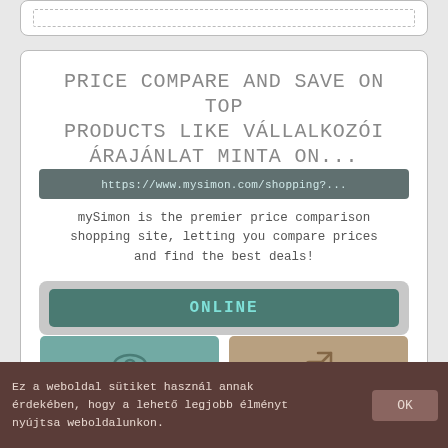PRICE COMPARE AND SAVE ON TOP PRODUCTS LIKE VÁLLALKOZÓI ÁRAJÁNLAT MINTA ON...
https://www.mysimon.com/shopping?...
mySimon is the premier price comparison shopping site, letting you compare prices and find the best deals!
ONLINE
[Figure (screenshot): Two thumbnail boxes partially visible at bottom — teal box with eye icon, tan box with arrow/link icon]
Ez a weboldal sütiket használ annak érdekében, hogy a lehető legjobb élményt nyújtsa weboldalunkon.
OK